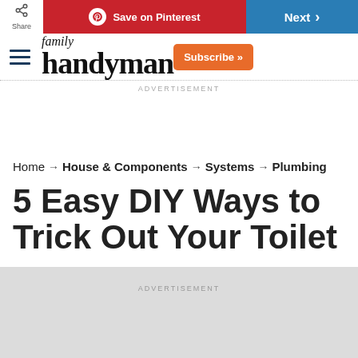Share | Save on Pinterest | Next
[Figure (logo): Family Handyman logo with hamburger menu and Subscribe button]
ADVERTISEMENT
Home → House & Components → Systems → Plumbing
5 Easy DIY Ways to Trick Out Your Toilet
ADVERTISEMENT